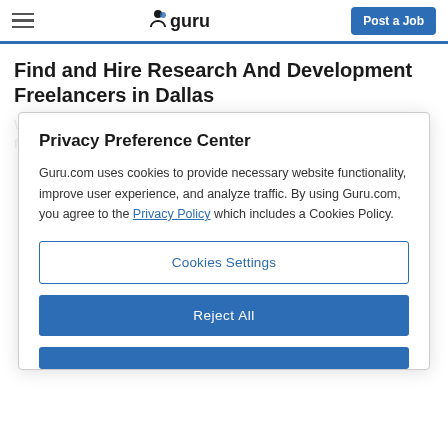guru — Post a Job
Find and Hire Research And Development Freelancers in Dallas
We found 18 Research And Development Freelancers offering 40 freelancing services online in Dallas
Privacy Preference Center
Guru.com uses cookies to provide necessary website functionality, improve user experience, and analyze traffic. By using Guru.com, you agree to the Privacy Policy which includes a Cookies Policy.
Cookies Settings
Reject All